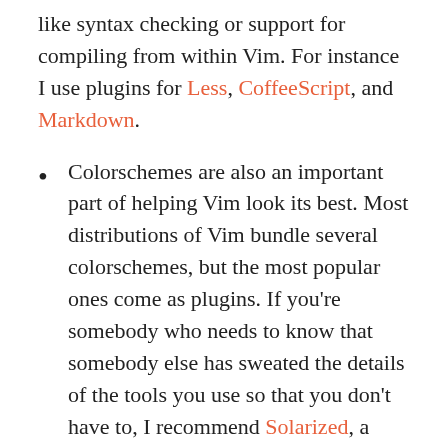like syntax checking or support for compiling from within Vim. For instance I use plugins for Less, CoffeeScript, and Markdown.
Colorschemes are also an important part of helping Vim look its best. Most distributions of Vim bundle several colorschemes, but the most popular ones come as plugins. If you're somebody who needs to know that somebody else has sweated the details of the tools you use so that you don't have to, I recommend Solarized, a color scheme based on the relationships between different colors and designed to echo the readability of words on paper. If you like to try different things and have more options, consider looking at Base16...